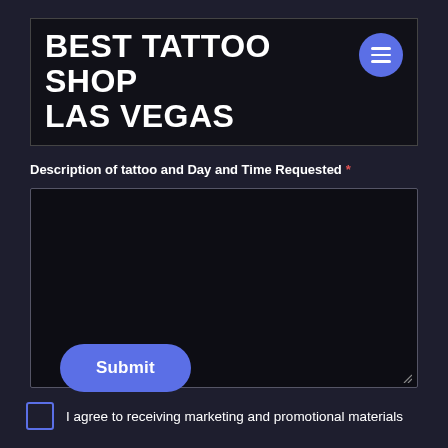BEST TATTOO SHOP LAS VEGAS
Description of tattoo and Day and Time Requested *
[Figure (other): Empty dark textarea input box with a resize handle in the bottom right corner]
I agree to receiving marketing and promotional materials
Submit